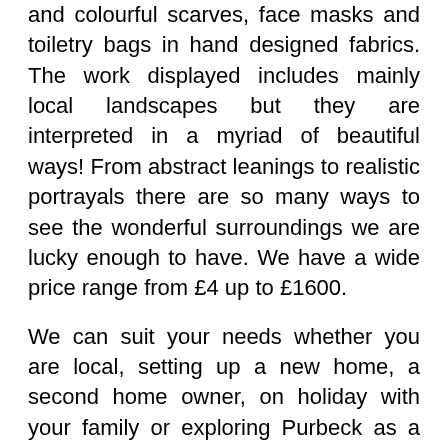and colourful scarves, face masks and toiletry bags in hand designed fabrics. The work displayed includes mainly local landscapes but they are interpreted in a myriad of beautiful ways! From abstract leanings to realistic portrayals there are so many ways to see the wonderful surroundings we are lucky enough to have. We have a wide price range from £4 up to £1600.
We can suit your needs whether you are local, setting up a new home, a second home owner, on holiday with your family or exploring Purbeck as a walker or cyclist.
We are situated in a prominent position on the High Street...